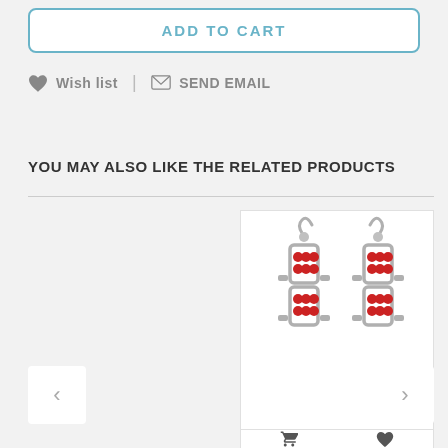ADD TO CART
♥ Wish list  |  ✉ SEND EMAIL
YOU MAY ALSO LIKE THE RELATED PRODUCTS
[Figure (photo): Product photo of a pair of red crystal and silver motorcycle chain-style dangle earrings on a white background]
[Figure (other): Bottom action bar with cart and heart/wishlist icons for the product]